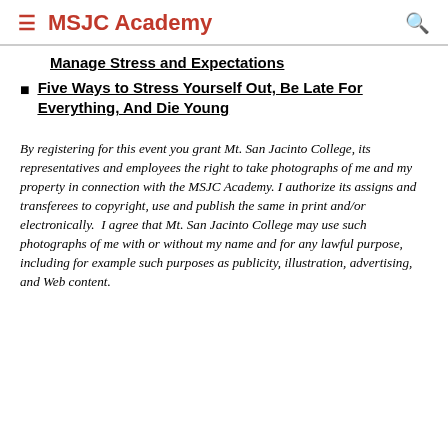MSJC Academy
Manage Stress and Expectations
Five Ways to Stress Yourself Out, Be Late For Everything, And Die Young
By registering for this event you grant Mt. San Jacinto College, its representatives and employees the right to take photographs of me and my property in connection with the MSJC Academy. I authorize its assigns and transferees to copyright, use and publish the same in print and/or electronically.  I agree that Mt. San Jacinto College may use such photographs of me with or without my name and for any lawful purpose, including for example such purposes as publicity, illustration, advertising, and Web content.